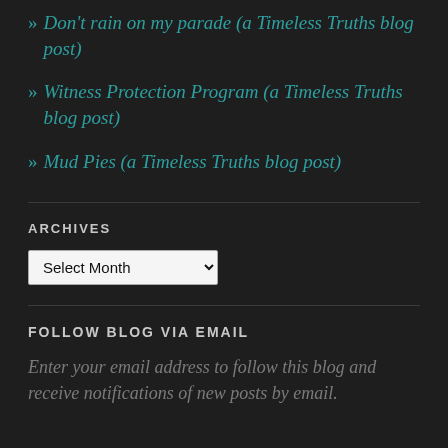» Don't rain on my parade (a Timeless Truths blog post)
» Witness Protection Program (a Timeless Truths blog post)
» Mud Pies (a Timeless Truths blog post)
ARCHIVES
Select Month
FOLLOW BLOG VIA EMAIL
Enter your email address to follow this blog and receive notifications of new posts by email.